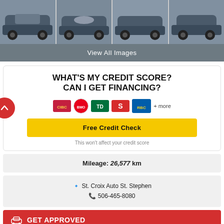[Figure (photo): Four car photos in a horizontal strip showing a dark grey Nissan Kicks SUV from multiple angles]
View All Images
WHAT'S MY CREDIT SCORE? CAN I GET FINANCING?
[Figure (logo): Bank logos: CIBC, BMO, TD, Scotiabank, RBC + more]
Free Credit Check
This won't affect your credit score
Mileage:  26,577 km
St. Croix Auto St. Stephen
506-465-8080
GET APPROVED